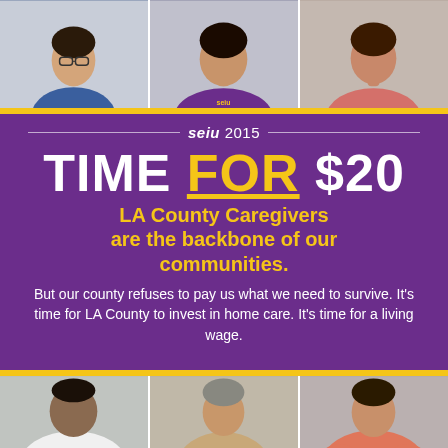[Figure (photo): Three people shown from waist up in portrait-style photos across the top strip: a woman in blue floral shirt, a woman in purple SEIU shirt, and a woman in pink patterned top.]
[Figure (logo): SEIU 2015 logo in white text with horizontal rules on either side, on purple background]
TIME FOR $20
LA County Caregivers are the backbone of our communities.
But our county refuses to pay us what we need to survive. It's time for LA County to invest in home care. It's time for a living wage.
[Figure (photo): Three people shown from waist up in portrait-style photos across the bottom strip: a man in white shirt, a woman in beige top, and a woman in coral/orange top.]